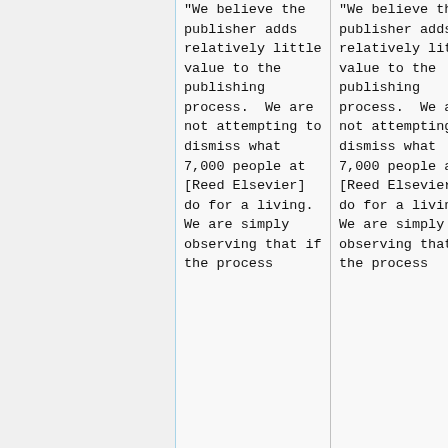"We believe the publisher adds relatively little value to the publishing process. We are not attempting to dismiss what 7,000 people at [Reed Elsevier] do for a living. We are simply observing that if the process
"We believe the publisher adds relatively little value to the publishing process. We are not attempting to dismiss what 7,000 people at [Reed Elsevier] do for a living. We are simply observing that if the process